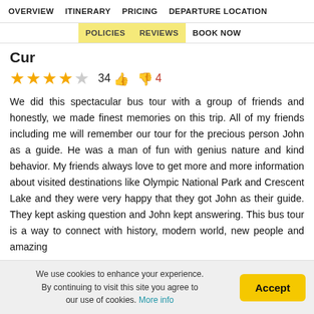OVERVIEW  ITINERARY  PRICING  DEPARTURE LOCATION
POLICIES  REVIEWS  BOOK NOW
Cur
★★★★☆  34 👍  👎 4
We did this spectacular bus tour with a group of friends and honestly, we made finest memories on this trip. All of my friends including me will remember our tour for the precious person John as a guide. He was a man of fun with genius nature and kind behavior. My friends always love to get more and more information about visited destinations like Olympic National Park and Crescent Lake and they were very happy that they got John as their guide. They kept asking question and John kept answering. This bus tour is a way to connect with history, modern world, new people and amazing
We use cookies to enhance your experience. By continuing to visit this site you agree to our use of cookies. More info